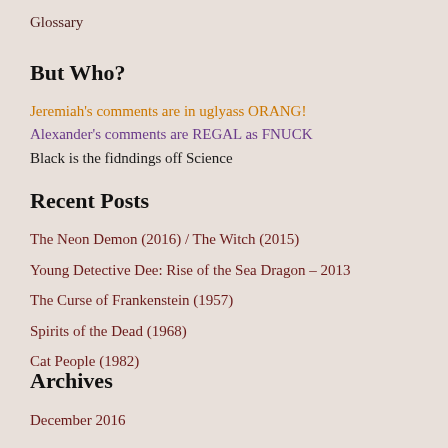Glossary
But Who?
Jeremiah's comments are in uglyass ORANG!
Alexander's comments are REGAL as FNUCK
Black is the fidndings off Science
Recent Posts
The Neon Demon (2016) / The Witch (2015)
Young Detective Dee: Rise of the Sea Dragon – 2013
The Curse of Frankenstein (1957)
Spirits of the Dead (1968)
Cat People (1982)
Archives
December 2016